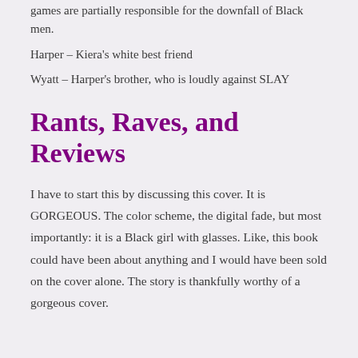games are partially responsible for the downfall of Black men.
Harper – Kiera's white best friend
Wyatt – Harper's brother, who is loudly against SLAY
Rants, Raves, and Reviews
I have to start this by discussing this cover. It is GORGEOUS. The color scheme, the digital fade, but most importantly: it is a Black girl with glasses. Like, this book could have been about anything and I would have been sold on the cover alone. The story is thankfully worthy of a gorgeous cover.